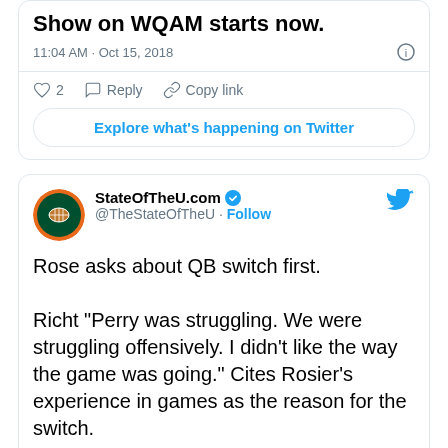Show on WQAM starts now.
11:04 AM · Oct 15, 2018
2  Reply  Copy link
Explore what's happening on Twitter
StateOfTheU.com @TheStateOfTheU · Follow
Rose asks about QB switch first.

Richt "Perry was struggling. We were struggling offensively. I didn't like the way the game was going." Cites Rosier's experience in games as the reason for the switch.
11:05 AM · Oct 15, 2018